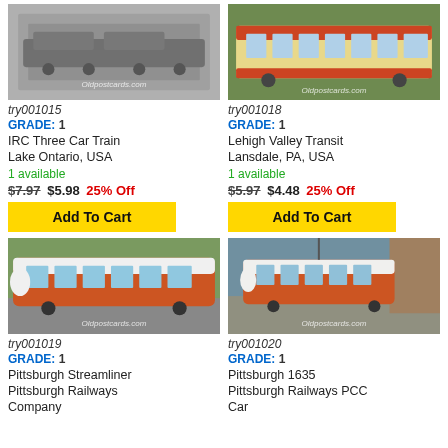[Figure (photo): Black and white photo of IRC Three Car Train, with Oldpostcards.com watermark]
try001015
GRADE: 1
IRC Three Car Train
Lake Ontario, USA
1 available
$7.97 $5.98 25% Off
Add To Cart
[Figure (photo): Color photo of Lehigh Valley Transit streetcar, cream and red, with Oldpostcards.com watermark]
try001018
GRADE: 1
Lehigh Valley Transit
Lansdale, PA, USA
1 available
$5.97 $4.48 25% Off
Add To Cart
[Figure (photo): Color photo of Pittsburgh Streamliner PCC car, orange and white, Pittsburgh Railways Company, with Oldpostcards.com watermark]
try001019
GRADE: 1
Pittsburgh Streamliner
Pittsburgh Railways
Company
[Figure (photo): Color photo of Pittsburgh 1635 PCC Car, orange, Pittsburgh Railways PCC Car, with Oldpostcards.com watermark]
try001020
GRADE: 1
Pittsburgh 1635
Pittsburgh Railways PCC
Car